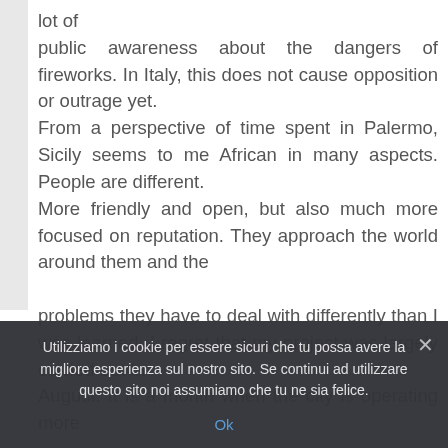lot of public awareness about the dangers of fireworks. In Italy, this does not cause opposition or outrage yet. From a perspective of time spent in Palermo, Sicily seems to me African in many aspects. People are different. More friendly and open, but also much more focused on reputation. They approach the world around them and the

problems they have to deal with differently than I was learned. I regret that my project was largely carried out in
August. It is a month when the city is operating more
Utilizziamo i cookie per essere sicuri che tu possa avere la migliore esperienza sul nostro sito. Se continui ad utilizzare questo sito noi assumiamo che tu ne sia felice.
Ok